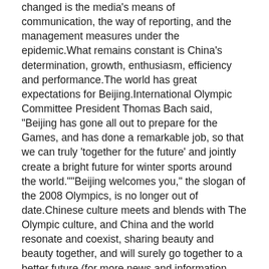changed is the media's means of communication, the way of reporting, and the management measures under the epidemic.What remains constant is China's determination, growth, enthusiasm, efficiency and performance.The world has great expectations for Beijing.International Olympic Committee President Thomas Bach said, "Beijing has gone all out to prepare for the Games, and has done a remarkable job, so that we can truly 'together for the future' and jointly create a bright future for winter sports around the world.""Beijing welcomes you," the slogan of the 2008 Olympics, is no longer out of date.Chinese culture meets and blends with The Olympic culture, and China and the world resonate and coexist, sharing beauty and beauty together, and will surely go together to a better future.(for more news and information, please pay close attention to guangzhou send pai.ycwb.com) source | guangzhou yangcheng evening news · sent pictured above | xinhua coordinating editor | jing-song liang